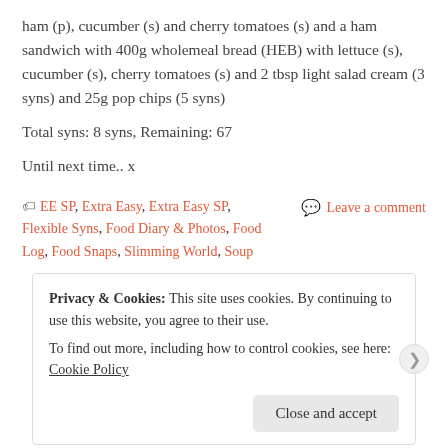ham (p), cucumber (s) and cherry tomatoes (s) and a ham sandwich with 400g wholemeal bread (HEB) with lettuce (s), cucumber (s), cherry tomatoes (s) and 2 tbsp light salad cream (3 syns) and 25g pop chips (5 syns)
Total syns: 8 syns, Remaining: 67
Until next time.. x
EE SP, Extra Easy, Extra Easy SP, Flexible Syns, Food Diary & Photos, Food Log, Food Snaps, Slimming World, Soup
Leave a comment
Privacy & Cookies: This site uses cookies. By continuing to use this website, you agree to their use.
To find out more, including how to control cookies, see here: Cookie Policy
Close and accept